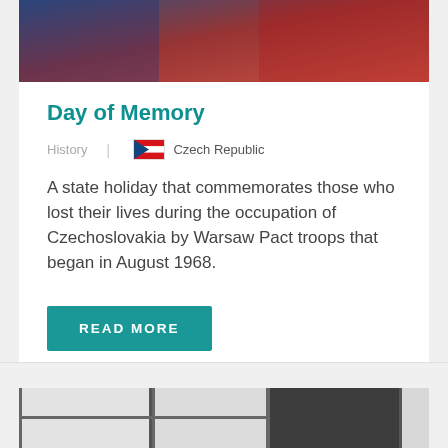[Figure (photo): Dark red and blue toned historical photo, partially visible at top of card]
Day of Memory
History  |  Czech Republic
A state holiday that commemorates those who lost their lives during the occupation of Czechoslovakia by Warsaw Pact troops that began in August 1968.
READ MORE
[Figure (photo): Interior photo showing windows with dark frames, partially visible at bottom of page]